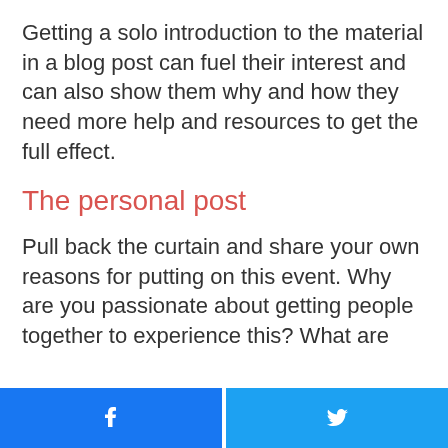Getting a solo introduction to the material in a blog post can fuel their interest and can also show them why and how they need more help and resources to get the full effect.
The personal post
Pull back the curtain and share your own reasons for putting on this event. Why are you passionate about getting people together to experience this? What are